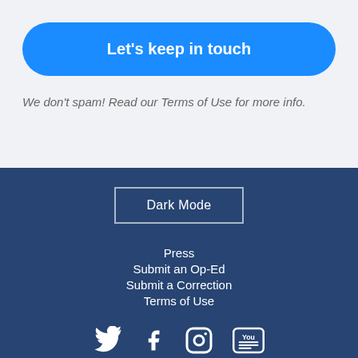Let's keep in touch
We don't spam! Read our Terms of Use for more info.
Dark Mode
Press
Submit an Op-Ed
Submit a Correction
Terms of Use
[Figure (illustration): Social media icons: Twitter, Facebook, Instagram, YouTube]